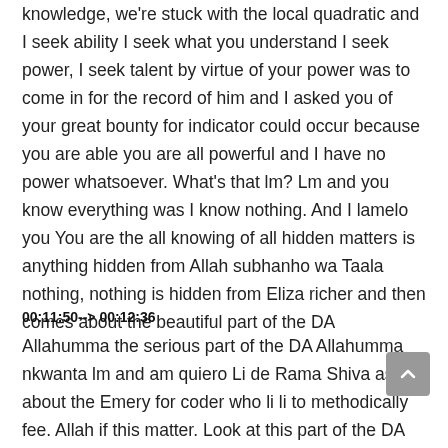knowledge, we're stuck with the local quadratic and I seek ability I seek what you understand I seek power, I seek talent by virtue of your power was to come in for the record of him and I asked you of your great bounty for indicator could occur because you are able you are all powerful and I have no power whatsoever. What's that lm? Lm and you know everything was I know nothing. And I lamelo you You are the all knowing of all hidden matters is anything hidden from Allah subhanho wa Taala nothing, nothing is hidden from Eliza richer and then comes about the beautiful part of the DA
00:11:50--> 00:12:36
Allahumma the serious part of the DA Allahumma nkwanta lm and am quiero Li de Rama Shiva asked about the Emery for coder who li li to methodically fee. Allah if this matter. Look at this part of the DA all